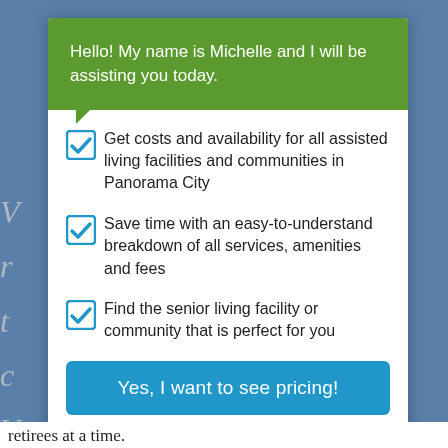Hello! My name is Michelle and I will be assisting you today.
Get costs and availability for all assisted living facilities and communities in Panorama City
Save time with an easy-to-understand breakdown of all services, amenities and fees
Find the senior living facility or community that is perfect for you
Yes, I want to see pricing!
Or call (888) 320-4625
retirees at a time.